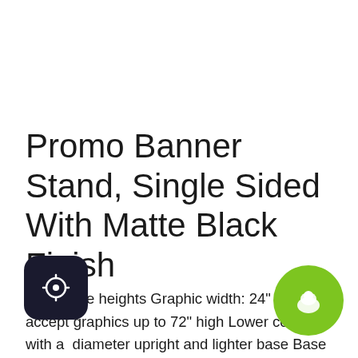Promo Banner Stand, Single Sided With Matte Black Finish
Adjustable heights Graphic width: 24" All stands accept graphics up to 72" high Lower cost unit with a diameter upright and lighter base Base has er bushing - insures stability "G" Lock allows quick height adjustments to 72" Stands close to 28 2/8" 5/8" & 2/4" aluminum tube diameters